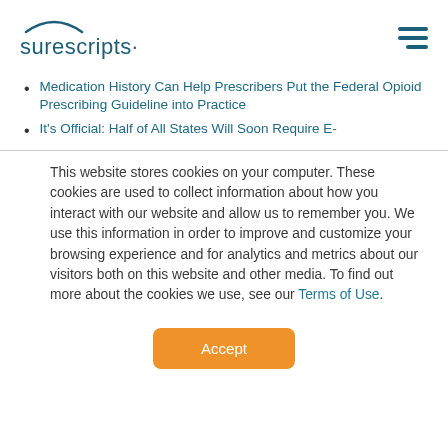Surescripts
Medication History Can Help Prescribers Put the Federal Opioid Prescribing Guideline into Practice
It's Official: Half of All States Will Soon Require E-
This website stores cookies on your computer. These cookies are used to collect information about how you interact with our website and allow us to remember you. We use this information in order to improve and customize your browsing experience and for analytics and metrics about our visitors both on this website and other media. To find out more about the cookies we use, see our Terms of Use.
Accept